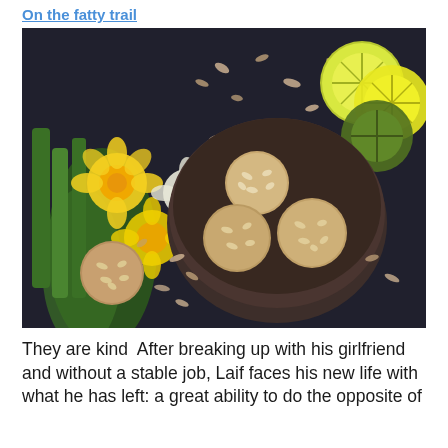On the fatty trail
[Figure (photo): Overhead flat-lay photo on a dark background showing yellow daffodil flowers on the left, sliced lemons and limes in the top-right, scattered almond flakes, a dark round bowl containing three almond cookies, and one additional cookie outside the bowl.]
They are kind  After breaking up with his girlfriend and without a stable job, Laif faces his new life with what he has left: a great ability to do the opposite of